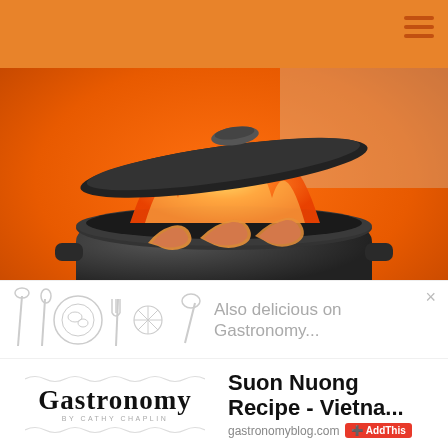[Figure (photo): A dark cast-iron pot with flames and shrimp/prawns inside, lid partially lifted, sitting on a round plate, dramatic orange fire background]
[Figure (logo): Gastronomy blog logo with decorative food icons and text 'Also delicious on Gastronomy...' close button]
[Figure (logo): Gastronomy by Cathy Chaplin logo]
Suon Nuong Recipe - Vietna...
gastronomyblog.com
AddThis